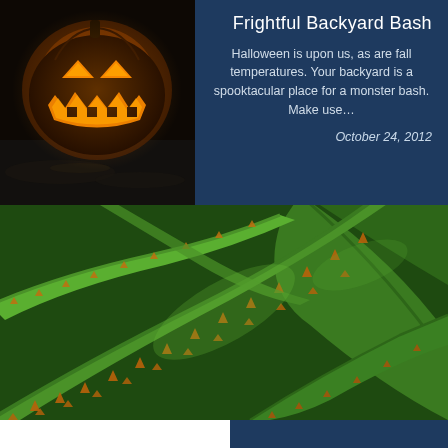[Figure (photo): Glowing jack-o-lantern pumpkin face against dark background, orange and yellow light]
Frightful Backyard Bash
Halloween is upon us, as are fall temperatures. Your backyard is a spooktacular place for a monster bash. Make use...
October 24, 2012
[Figure (photo): Close-up macro photo of aloe vera or agave plant leaves with spiky orange-tipped edges, vivid green color]